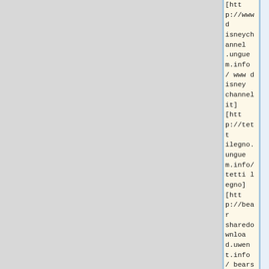[http://wwwdisneychannel.unguem.info/ www disney channel it] [http://tettilegno.unguem.info/ tetti legno] [http://bearsharedownload.uwent.info/ bearshare download italiano] [http://regionefvg.open-box.info/ regione fvg] [http://vagiNapelosa.uwe